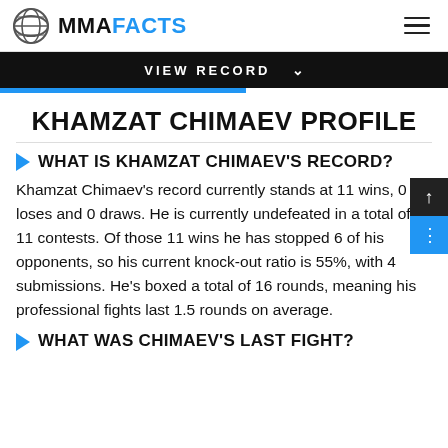MMA FACTS
VIEW RECORD
KHAMZAT CHIMAEV PROFILE
WHAT IS KHAMZAT CHIMAEV'S RECORD?
Khamzat Chimaev's record currently stands at 11 wins, 0 loses and 0 draws. He is currently undefeated in a total of 11 contests. Of those 11 wins he has stopped 6 of his opponents, so his current knock-out ratio is 55%, with 4 submissions. He's boxed a total of 16 rounds, meaning his professional fights last 1.5 rounds on average.
WHAT WAS CHIMAEV'S LAST FIGHT?